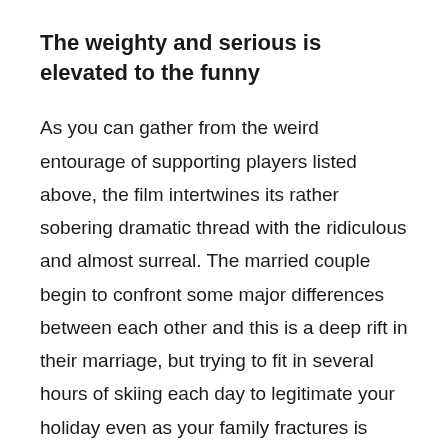The weighty and serious is elevated to the funny
As you can gather from the weird entourage of supporting players listed above, the film intertwines its rather sobering dramatic thread with the ridiculous and almost surreal. The married couple begin to confront some major differences between each other and this is a deep rift in their marriage, but trying to fit in several hours of skiing each day to legitimate your holiday even as your family fractures is